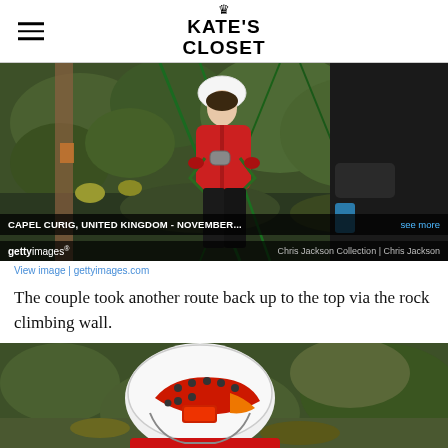KATE'S CLOSET
[Figure (photo): A woman in a red jacket and white helmet on a climbing/abseiling rope outdoors, with a person in black beside her. Getty Images watermark visible. Caption reads: CAPEL CURIG, UNITED KINGDOM - NOVEMBER... see more. Credit: Chris Jackson Collection | Chris Jackson]
View image | gettyimages.com
The couple took another route back up to the top via the rock climbing wall.
[Figure (photo): Close-up of a person wearing a white and red helmet with black dots, in a red jacket, outdoors with green foliage in the background.]